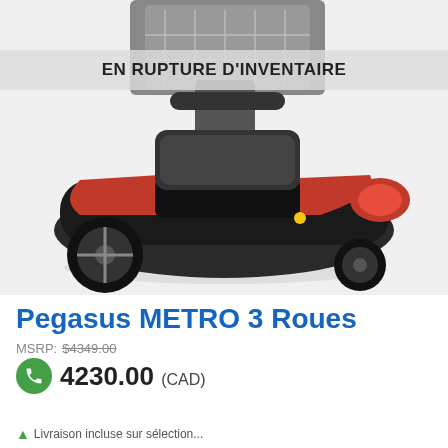[Figure (photo): A black and red Pegasus METRO 3-wheel mobility scooter photographed from a slightly elevated angle. The scooter has a black base, red accent panels on the front and side, and three wheels visible. Handlebars and a basket are partially visible at the top.]
EN RUPTURE D'INVENTAIRE
Pegasus METRO 3 Roues
MSRP: $4349.00
4230.00 (CAD)